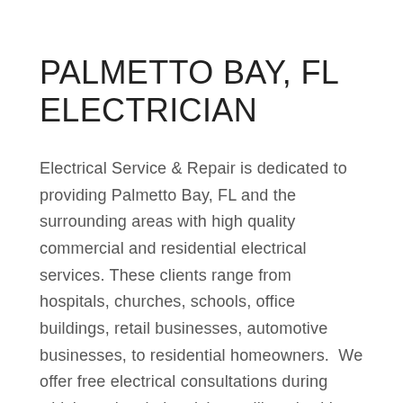PALMETTO BAY, FL ELECTRICIAN
Electrical Service & Repair is dedicated to providing Palmetto Bay, FL and the surrounding areas with high quality commercial and residential electrical services. These clients range from hospitals, churches, schools, office buildings, retail businesses, automotive businesses, to residential homeowners.  We offer free electrical consultations during which our local electricians will work with you to provide a detailed scope of work and pricing to perform